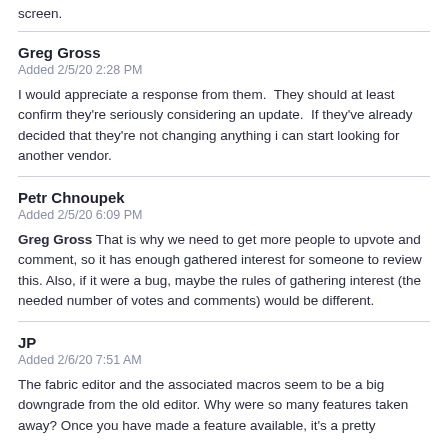screen.
Greg Gross
Added 2/5/20 2:28 PM
I would appreciate a response from them.  They should at least confirm they're seriously considering an update.  If they've already decided that they're not changing anything i can start looking for another vendor.
Petr Chnoupek
Added 2/5/20 6:09 PM
Greg Gross That is why we need to get more people to upvote and comment, so it has enough gathered interest for someone to review this. Also, if it were a bug, maybe the rules of gathering interest (the needed number of votes and comments) would be different.
JP
Added 2/6/20 7:51 AM
The fabric editor and the associated macros seem to be a big downgrade from the old editor. Why were so many features taken away? Once you have made a feature available, it's a pretty